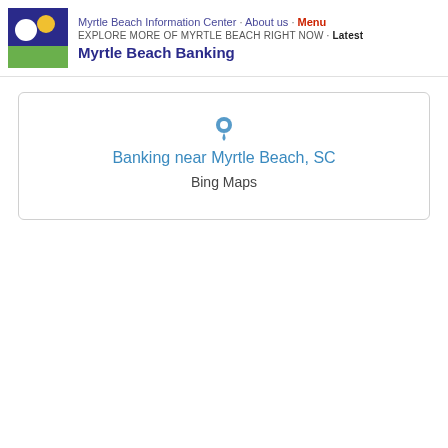Myrtle Beach Information Center · About us · Menu EXPLORE MORE OF MYRTLE BEACH RIGHT NOW · Latest Myrtle Beach Banking
[Figure (map): Bing map showing banking locations near Myrtle Beach, SC with a location pin icon]
Banking near Myrtle Beach, SC
Bing Maps